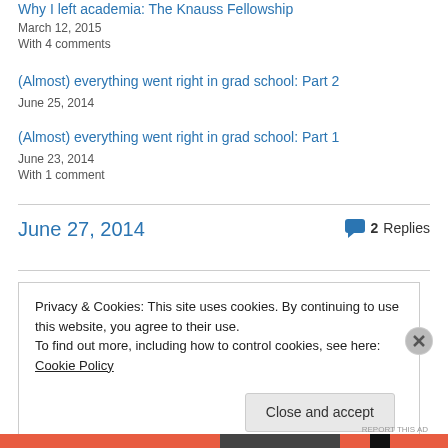Why I left academia: The Knauss Fellowship
March 12, 2015
With 4 comments
(Almost) everything went right in grad school: Part 2
June 25, 2014
(Almost) everything went right in grad school: Part 1
June 23, 2014
With 1 comment
June 27, 2014
2 Replies
Privacy & Cookies: This site uses cookies. By continuing to use this website, you agree to their use. To find out more, including how to control cookies, see here: Cookie Policy
Close and accept